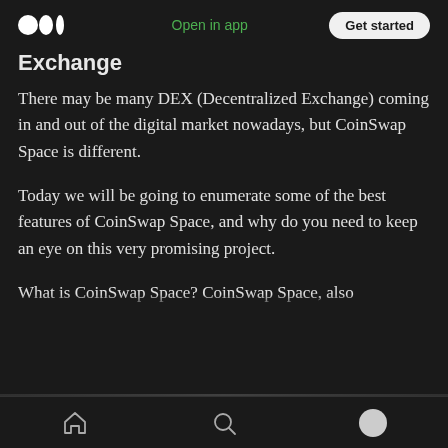Open in app | Get started
Exchange
There may be many DEX (Decentralized Exchange) coming in and out of the digital market nowadays, but CoinSwap Space is different.
Today we will be going to enumerate some of the best features of CoinSwap Space, and why do you need to keep an eye on this very promising project.
What is CoinSwap Space? CoinSwap Space, also
Home | Search | Profile